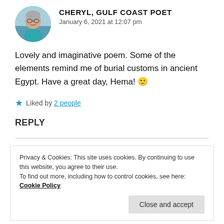CHERYL, GULF COAST POET
January 6, 2021 at 12:07 pm
Lovely and imaginative poem. Some of the elements remind me of burial customs in ancient Egypt. Have a great day, Hema! 🙂
★ Liked by 2 people
REPLY
Privacy & Cookies: This site uses cookies. By continuing to use this website, you agree to their use.
To find out more, including how to control cookies, see here: Cookie Policy
Yeah, the valuables in the coffin, right?